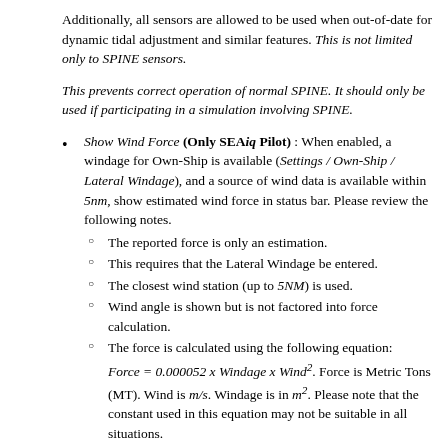Additionally, all sensors are allowed to be used when out-of-date for dynamic tidal adjustment and similar features. This is not limited only to SPINE sensors.
This prevents correct operation of normal SPINE. It should only be used if participating in a simulation involving SPINE.
Show Wind Force (Only SEAiq Pilot) : When enabled, a windage for Own-Ship is available (Settings / Own-Ship / Lateral Windage), and a source of wind data is available within 5nm, show estimated wind force in status bar. Please review the following notes.
The reported force is only an estimation.
This requires that the Lateral Windage be entered.
The closest wind station (up to 5NM) is used.
Wind angle is shown but is not factored into force calculation.
The force is calculated using the following equation: Force = 0.000052 x Windage x Wind^2. Force is Metric Tons (MT). Wind is m/s. Windage is in m^2. Please note that the constant used in this equation may not be suitable in all situations.
Only lateral force (from sides) is currently displayed.